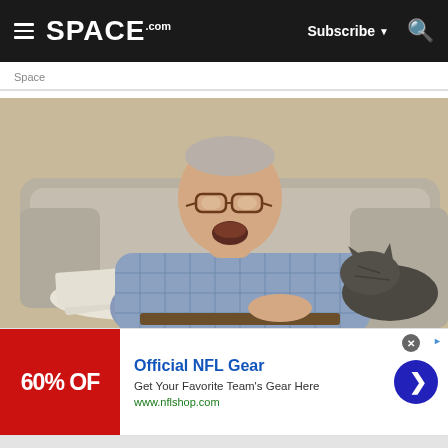SPACE.com — Subscribe — Search
Space
[Figure (photo): An older man with glasses, wearing a plaid button-up shirt, sitting on a beige couch with newspapers on his lap and a dark cat beside him. His mouth is open as if yawning or laughing.]
Official NFL Gear
Get Your Favorite Team's Gear Here
www.nflshop.com